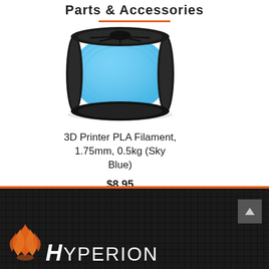Parts & Accessories
[Figure (photo): A spool of sky blue PLA 3D printer filament on a black plastic spool holder]
3D Printer PLA Filament, 1.75mm, 0.5kg (Sky Blue)
$8.95
ADD TO CART
Hyperion